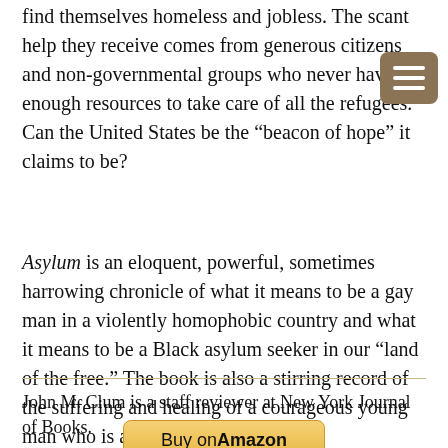find themselves homeless and jobless. The scant help they receive comes from generous citizens and non-governmental groups who never have enough resources to take care of all the refugees. Can the United States be the “beacon of hope” it claims to be?
Asylum is an eloquent, powerful, sometimes harrowing chronicle of what it means to be a gay man in a violently homophobic country and what it means to be a Black asylum seeker in our “land of the free.” The book is also a stirring record of the suffering and healing of a courageous young man who is a born leader.
John M. Clum is a staff reviewer at New York Journal of Books.
[Figure (other): Buy on Amazon button]